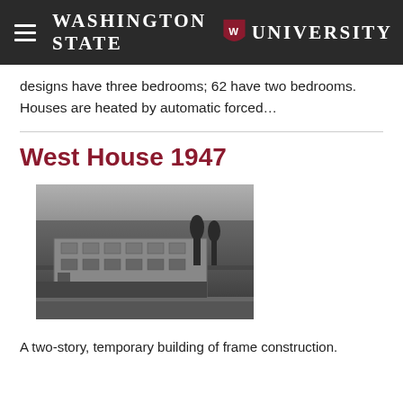Washington State University
designs have three bedrooms; 62 have two bedrooms. Houses are heated by automatic forced…
West House 1947
[Figure (photo): Black and white photograph of West House, a two-story residential building with trees in the background and a road in the foreground, taken in 1947.]
A two-story, temporary building of frame construction.